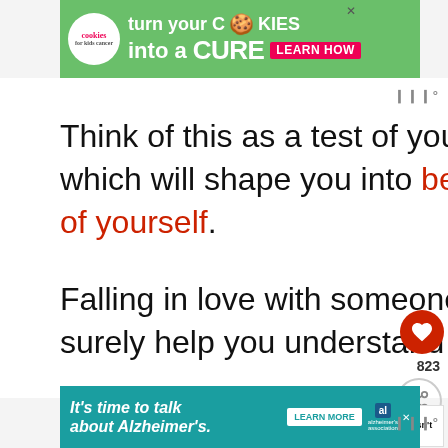[Figure (screenshot): Top advertisement banner for Cookies for Kids Cancer: green background with cookies logo, text 'turn your COOKIES into a CURE LEARN HOW']
Think of this as a test of your strength and as something which will shape you into becoming the best possible version of yourself.
Falling in love with someone who does love you back will surely help you understand what should be your priorities.
[Figure (screenshot): Bottom advertisement banner for Alzheimer's Association: teal background, text 'It’s time to talk about Alzheimer’s.' with Learn More button and Alzheimer's Association logo]